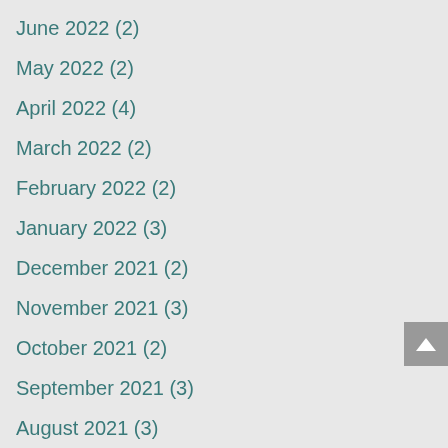June 2022 (2)
May 2022 (2)
April 2022 (4)
March 2022 (2)
February 2022 (2)
January 2022 (3)
December 2021 (2)
November 2021 (3)
October 2021 (2)
September 2021 (3)
August 2021 (3)
July 2021 (2)
June 2021 (3)
May 2021 (3)
April 2021 (3)